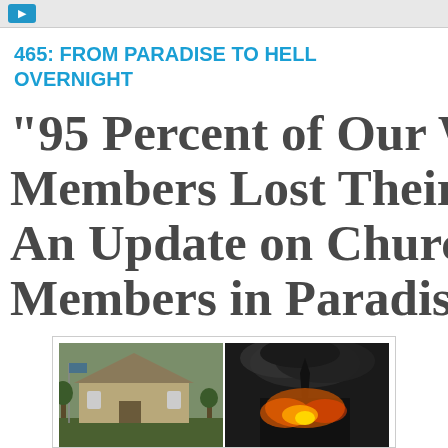465: FROM PARADISE TO HELL OVERNIGHT
"95 Percent of Our W... Members Lost Their H... An Update on Church Members in Paradise,
[Figure (photo): Two side-by-side photos: left shows a church building with trees in daylight, right shows a building/steeple on fire with dark smoke]